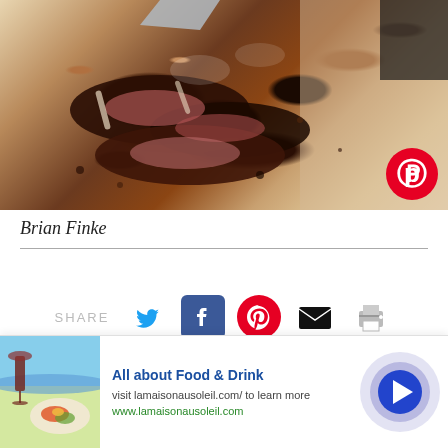[Figure (photo): Food photo showing sliced smoked/grilled meat being carved on a cutting board, with steam rising. A Pinterest icon is visible in the bottom-right corner of the image.]
Brian Finke
[Figure (infographic): Social sharing row with SHARE label followed by icons: Twitter (blue bird), Facebook (blue F), Pinterest (red P), Email (black envelope), Print (gray printer)]
[Figure (infographic): Advertisement bar at bottom: thumbnail image of food/wine, text 'All about Food & Drink', 'visit lamaisonausoleil.com/ to learn more', 'www.lamaisonausoleil.com', and a blue arrow button on the right]